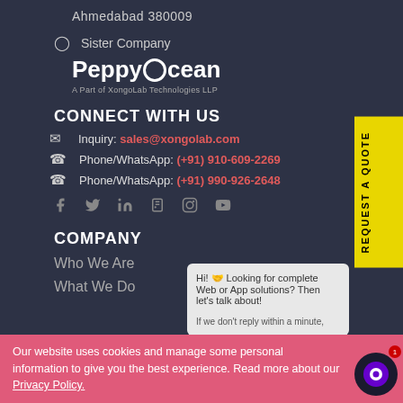Ahmedabad 380009
Sister Company
[Figure (logo): PeppyOcean logo with tagline 'A Part of XongoLab Technologies LLP']
CONNECT WITH US
Inquiry: sales@xongolab.com
Phone/WhatsApp: (+91) 910-609-2269
Phone/WhatsApp: (+91) 990-926-2648
[Figure (other): Social media icons: Facebook, Twitter, LinkedIn, Pinterest, Instagram, YouTube]
COMPANY
Who We Are
What We Do
REQUEST A QUOTE
Hi! Looking for complete Web or App solutions? Then let's talk about! If we don't reply within a minute,
Our website uses cookies and manage some personal information to give you the best experience. Read more about our Privacy Policy.